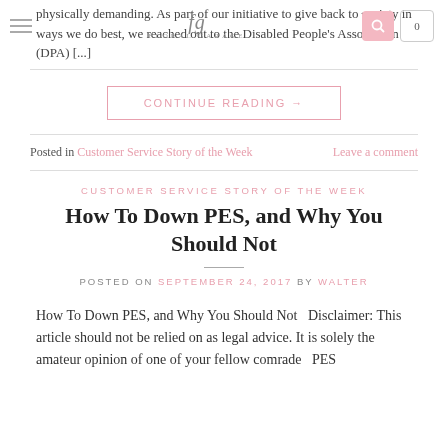physically demanding. As part of our initiative to give back to society in ways we do best, we reached out to the Disabled People's Association (DPA) [...]
CONTINUE READING →
Posted in Customer Service Story of the Week   Leave a comment
CUSTOMER SERVICE STORY OF THE WEEK
How To Down PES, and Why You Should Not
POSTED ON SEPTEMBER 24, 2017 BY WALTER
How To Down PES, and Why You Should Not   Disclaimer: This article should not be relied on as legal advice. It is solely the amateur opinion of one of your fellow comrade   PES